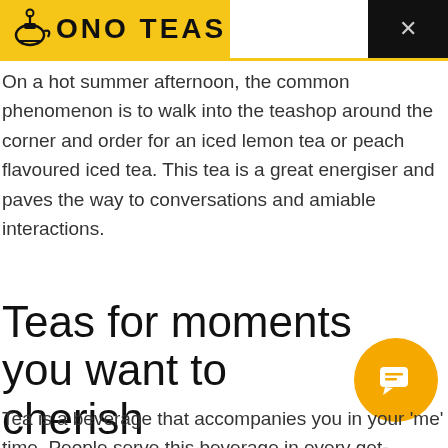ONO TEAS
On a hot summer afternoon, the common phenomenon is to walk into the teashop around the corner and order for an iced lemon tea or peach flavoured iced tea. This tea is a great energiser and paves the way to conversations and amiable interactions.
Teas for moments you want to cherish
Tea is a beverage that accompanies you in your ‘me’ time. People serve this beverage in every get-together at home. This drink is